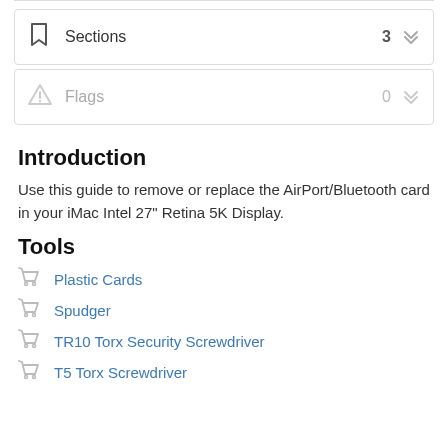| Sections | 3 |
| Flags | 0 |
Introduction
Use this guide to remove or replace the AirPort/Bluetooth card in your iMac Intel 27" Retina 5K Display.
Tools
Plastic Cards
Spudger
TR10 Torx Security Screwdriver
T5 Torx Screwdriver